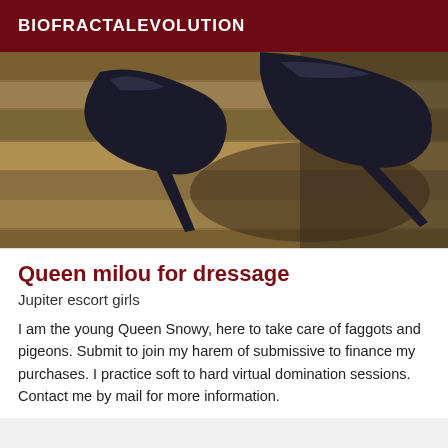BIOFRACTALEVOLUTION
[Figure (photo): Close-up photo of black high heel shoes on a wooden surface with shadows]
Queen milou for dressage
Jupiter escort girls
I am the young Queen Snowy, here to take care of faggots and pigeons. Submit to join my harem of submissive to finance my purchases. I practice soft to hard virtual domination sessions. Contact me by mail for more information.